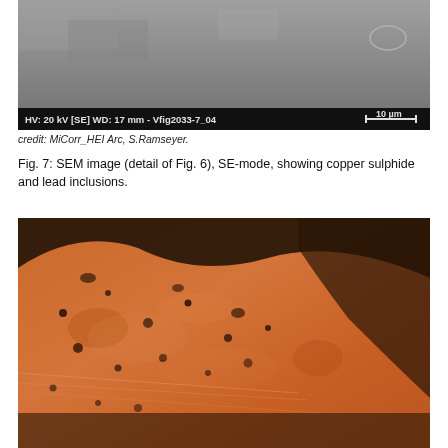[Figure (photo): SEM image (SE-mode) showing a grey metallic surface with dark inclusions. Black scale bar overlay at bottom reads: HV: 20 kV [SE] WD: 17 mm - Vfig2033-7_04, with 10 µm scale bar on right.]
credit: MiCorr_HEI Arc, S.Ramseyer.
Fig. 7: SEM image (detail of Fig. 6), SE-mode, showing copper sulphide and lead inclusions.
[Figure (photo): Optical microscopy image showing a cross-section of a copper alloy artifact with orange/red metallic matrix, black corrosion pits and inclusions, visible scratches from polishing, and a dark grey/brown corrosion layer at the top right.]